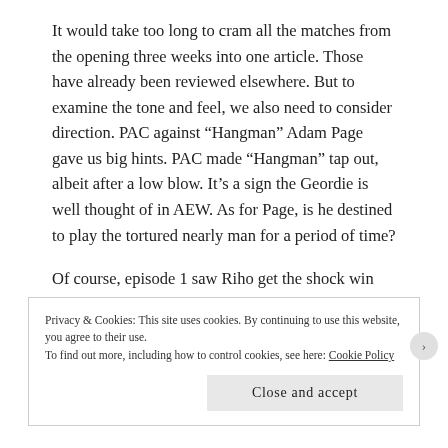It would take too long to cram all the matches from the opening three weeks into one article. Those have already been reviewed elsewhere. But to examine the tone and feel, we also need to consider direction. PAC against “Hangman” Adam Page gave us big hints. PAC made “Hangman” tap out, albeit after a low blow. It’s a sign the Geordie is well thought of in AEW. As for Page, is he destined to play the tortured nearly man for a period of time?
Of course, episode 1 saw Riho get the shock win over Nyla Rose. “Shock” is used sparingly there.
Privacy & Cookies: This site uses cookies. By continuing to use this website, you agree to their use.
To find out more, including how to control cookies, see here: Cookie Policy